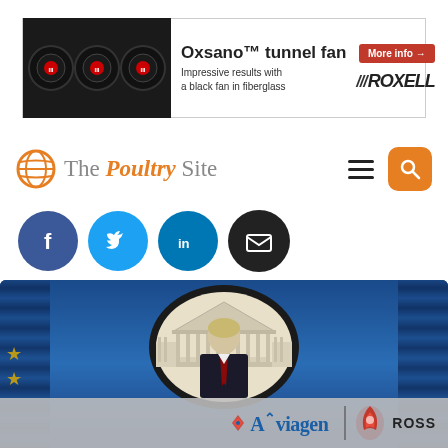[Figure (photo): Advertisement banner for Oxsano tunnel fan by Roxell. Shows three black industrial fans on the left, text 'Oxsano™ tunnel fan' with 'More info →' button in red, subtitle 'Impressive results with a black fan in fiberglass', and Roxell logo.]
[Figure (logo): The Poultry Site logo with orange globe icon and serif/italic text, plus hamburger menu and orange search button.]
[Figure (infographic): Social media share icons: Facebook (blue), Twitter (blue), LinkedIn (blue), Email (black).]
[Figure (photo): Photo of a person (likely USDA official) in front of the USDA seal/backdrop with blue curtains, with Aviagen and Ross logos overlaid at the bottom.]